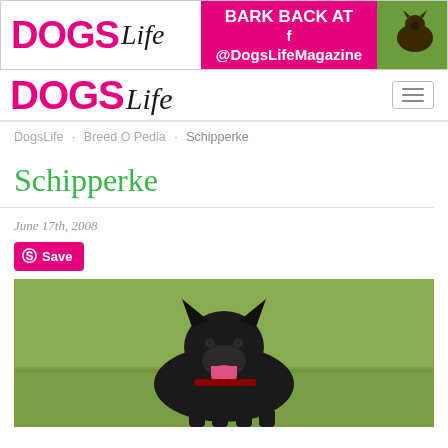[Figure (logo): DOGS Life magazine banner ad with pink logo, 'BARK BACK AT f@DogsLifeMagazine' text on magenta background, and a photo of a dog on green background]
[Figure (logo): DOGS Life magazine navigation logo in black and pink]
DogsLife · Breed O Pedia · Schipperke
Schipperke
June 17th, 2008
Save
[Figure (photo): A black Schipperke dog standing on grass with tongue out]